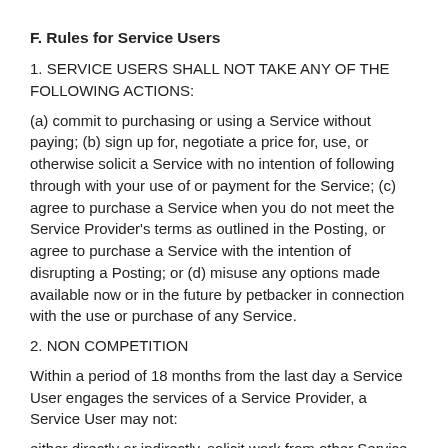F. Rules for Service Users
1. SERVICE USERS SHALL NOT TAKE ANY OF THE FOLLOWING ACTIONS:
(a) commit to purchasing or using a Service without paying; (b) sign up for, negotiate a price for, use, or otherwise solicit a Service with no intention of following through with your use of or payment for the Service; (c) agree to purchase a Service when you do not meet the Service Provider's terms as outlined in the Posting, or agree to purchase a Service with the intention of disrupting a Posting; or (d) misuse any options made available now or in the future by petbacker in connection with the use or purchase of any Service.
2. NON COMPETITION
Within a period of 18 months from the last day a Service User engages the services of a Service Provider, a Service User may not:
either directly or indirectly, solicit work from other Service